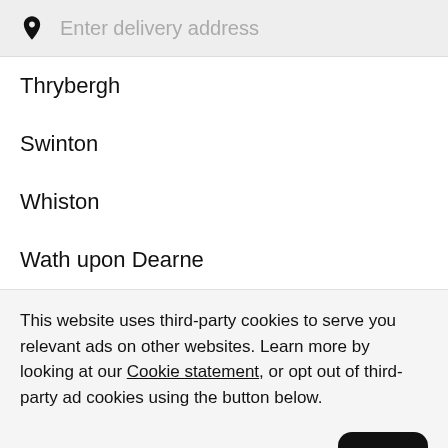Enter delivery address
Thrybergh
Swinton
Whiston
Wath upon Dearne
This website uses third-party cookies to serve you relevant ads on other websites. Learn more by looking at our Cookie statement, or opt out of third-party ad cookies using the button below.